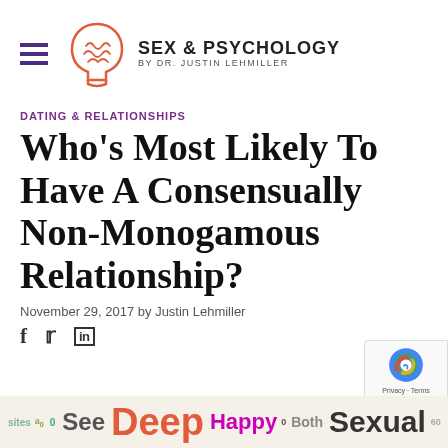[Figure (logo): Sex & Psychology logo with head outline icon and text 'SEX & PSYCHOLOGY BY DR. JUSTIN LEHMILLER']
DATING & RELATIONSHIPS
Who's Most Likely To Have A Consensually Non-Monogamous Relationship?
November 29, 2017 by Justin Lehmiller
[Figure (infographic): Word cloud strip at bottom with words: sites, See, Deep, Happy, Both, Sexual in various colors and sizes]
[Figure (other): reCAPTCHA badge with Privacy and Terms links]